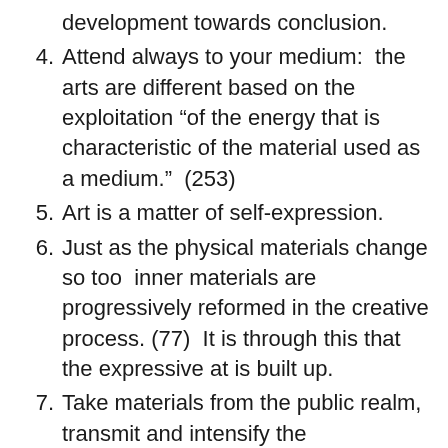development towards conclusion.
4. Attend always to your medium:  the arts are different based on the exploitation “of the energy that is characteristic of the material used as a medium.”  (253)
5. Art is a matter of self-expression.
6. Just as the physical materials change so too  inner materials are progressively reformed in the creative process. (77)  It is through this that the expressive at is built up.
7. Take materials from the public realm, transmit and intensify the